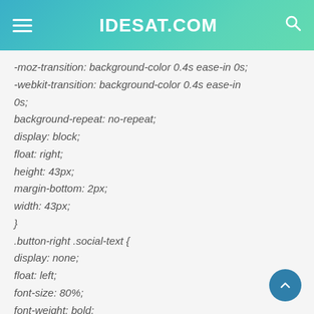IDESAT.COM
-moz-transition: background-color 0.4s ease-in 0s;
-webkit-transition: background-color 0.4s ease-in 0s;
background-repeat: no-repeat;
display: block;
float: right;
height: 43px;
margin-bottom: 2px;
width: 43px;
}
.button-right .social-text {
display: none;
float: left;
font-size: 80%;
font-weight: bold;